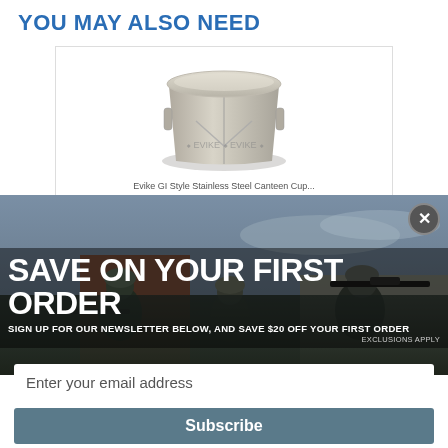YOU MAY ALSO NEED
[Figure (photo): Stainless steel canteen cup / GI style canteen cup product image with Evike watermark]
Evike GI Style Stainless Steel Canteen Cup
[Figure (photo): Military soldiers in combat gear aiming rifles, promotional background photo for newsletter signup modal]
SAVE ON YOUR FIRST ORDER
SIGN UP FOR OUR NEWSLETTER BELOW, AND SAVE $20 OFF YOUR FIRST ORDER
EXCLUSIONS APPLY
Enter your email address
Subscribe